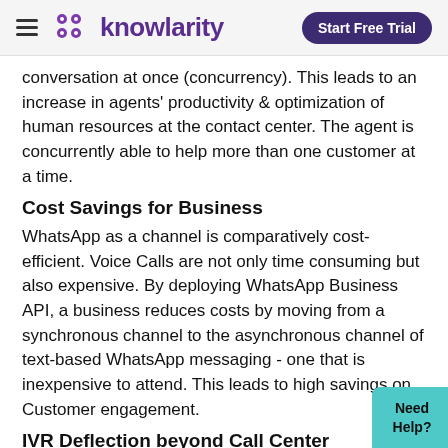knowlarity | Start Free Trial
conversation at once (concurrency). This leads to an increase in agents' productivity & optimization of human resources at the contact center. The agent is concurrently able to help more than one customer at a time.
Cost Savings for Business
WhatsApp as a channel is comparatively cost-efficient. Voice Calls are not only time consuming but also expensive. By deploying WhatsApp Business API, a business reduces costs by moving from a synchronous channel to the asynchronous channel of text-based WhatsApp messaging - one that is inexpensive to attend. This leads to high savings on Customer engagement.
IVR Deflection beyond Call Center optimization- There's more to it